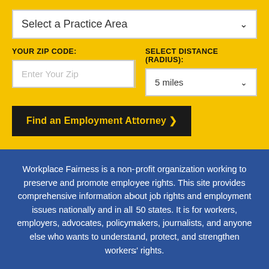Select a Practice Area
YOUR ZIP CODE:
SELECT DISTANCE (RADIUS):
Enter Your Zip
5 miles
Find an Employment Attorney ❯
Workplace Fairness is a non-profit organization working to preserve and promote employee rights. This site provides comprehensive information about job rights and employment issues nationally and in all 50 states. It is for workers, employers, advocates, policymakers, journalists, and anyone else who wants to understand, protect, and strengthen workers' rights.
[Figure (infographic): Advertisement banner: forest/Amazon protection ad with image of wildlife on left, text 'Just $2 can protect 1 acre of irreplaceable forest homes in the Amazon. How many acres are you willing to protect?' and green button 'PROTECT FORESTS NOW']
×